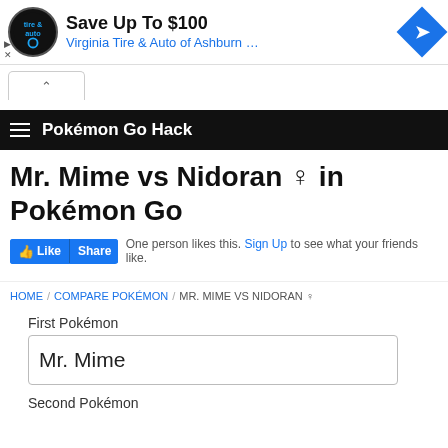[Figure (screenshot): Advertisement banner for Virginia Tire & Auto of Ashburn with logo, save up to $100 text, navigation arrow icon, and ad controls]
Save Up To $100
Virginia Tire & Auto of Ashburn ...
Pokémon Go Hack
Mr. Mime vs Nidoran ♀ in Pokémon Go
One person likes this. Sign Up to see what your friends like.
HOME / COMPARE POKÉMON / MR. MIME VS NIDORAN ♀
First Pokémon
Mr. Mime
Second Pokémon